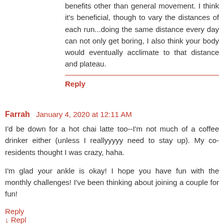benefits other than general movement. I think it's beneficial, though to vary the distances of each run...doing the same distance every day can not only get boring, I also think your body would eventually acclimate to that distance and plateau.
Reply
Farrah  January 4, 2020 at 12:11 AM
I'd be down for a hot chai latte too--I'm not much of a coffee drinker either (unless I reallyyyyy need to stay up). My co-residents thought I was crazy, haha.
I'm glad your ankle is okay! I hope you have fun with the monthly challenges! I've been thinking about joining a couple for fun!
Reply
↓ Reply